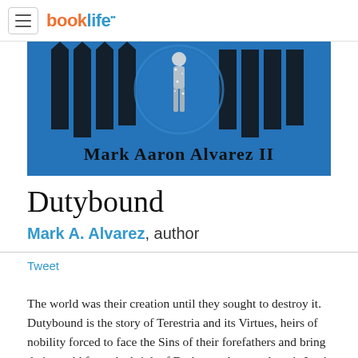booklife
[Figure (illustration): Book cover for Dutybound by Mark Aaron Alvarez II — blue background with gothic-style text and a glittery human figure silhouette]
Dutybound
Mark A. Alvarez, author
Tweet
The world was their creation until they sought to destroy it. Dutybound is the story of Terestria and its Virtues, heirs of nobility forced to face the Sins of their forefathers and bring their world from the brink of Darkness. Among them is Lucia Sanoon, High Maiden to the province of Moz and chosen of the Light Wings. The